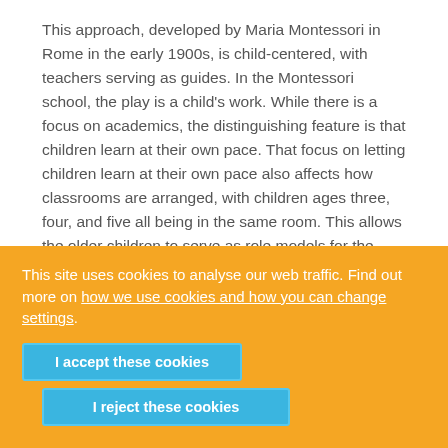This approach, developed by Maria Montessori in Rome in the early 1900s, is child-centered, with teachers serving as guides. In the Montessori school, the play is a child's work. While there is a focus on academics, the distinguishing feature is that children learn at their own pace. That focus on letting children learn at their own pace also affects how classrooms are arranged, with children ages three, four, and five all being in the same room. This allows the older children to serve as role models for the younger ones and exposes children to different ages. Children generally have the same teacher for those three years, allowing close teacher-student relationships to develop. The mixed-age aspect also
This site uses cookies to analyse our web traffic. Find out more on how we use cookies and how you can change settings.
I accept these cookies
I reject these cookies